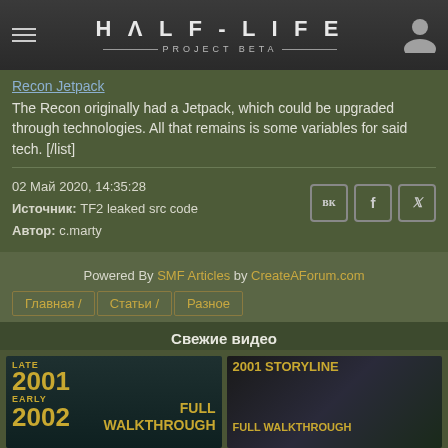HALF-LIFE PROJECT BETA
Recon Jetpack
The Recon originally had a Jetpack, which could be upgraded through technologies. All that remains is some variables for said tech. [/list]
02 Май 2020, 14:35:28
Источник: TF2 leaked src code
Автор: c.marty
Powered By SMF Articles by CreateAForum.com
Главная /
Статьи /
Разное
Свежие видео
[Figure (photo): Video thumbnail: LATE 2001 EARLY 2002 FULL WALKTHROUGH game footage]
[Figure (photo): Video thumbnail: 2001 STORYLINE FULL WALKTHROUGH game footage]